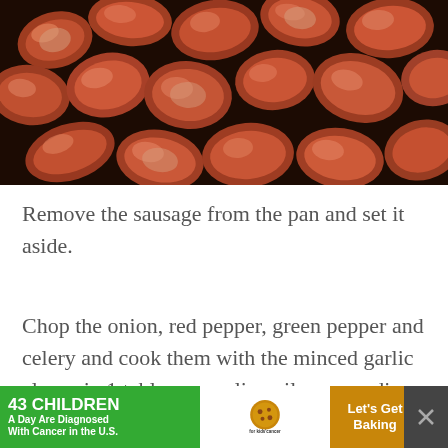[Figure (photo): Close-up photo of browned/caramelized sausage chunks on a dark pan. The pieces are cut into bite-sized cubes, showing a reddish-brown exterior. A watermark in the bottom-right reads 'dukes & duchesses' in white script.]
Remove the sausage from the pan and set it aside.
Chop the onion, red pepper, green pepper and celery and cook them with the minced garlic cloves in 1 tablespoon olive oil over medium heat until tender.
[Figure (other): Advertisement banner: '43 CHILDREN A Day Are Diagnosed With Cancer in the U.S.' with cookies for kids' cancer logo and 'Let's Get Baking' text on orange background.]